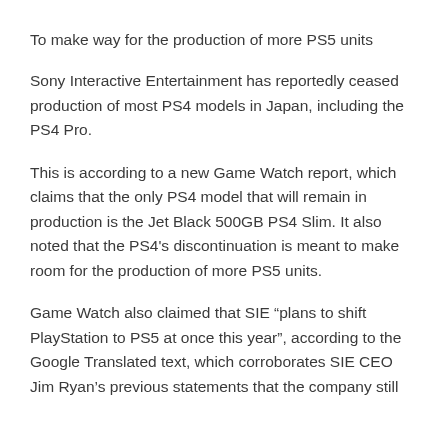To make way for the production of more PS5 units
Sony Interactive Entertainment has reportedly ceased production of most PS4 models in Japan, including the PS4 Pro.
This is according to a new Game Watch report, which claims that the only PS4 model that will remain in production is the Jet Black 500GB PS4 Slim. It also noted that the PS4’s discontinuation is meant to make room for the production of more PS5 units.
Game Watch also claimed that SIE “plans to shift PlayStation to PS5 at once this year”, according to the Google Translated text, which corroborates SIE CEO Jim Ryan’s previous statements that the company still